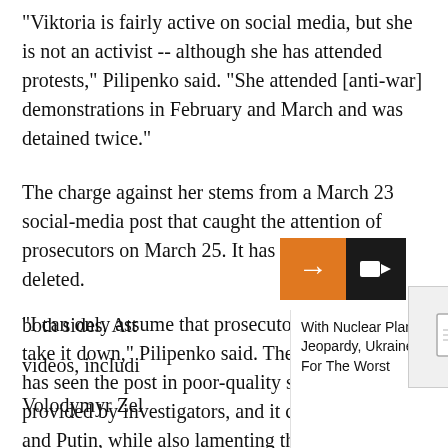"Viktoria is fairly active on social media, but she is not an activist -- although she has attended protests," Pilipenko said. "She attended [anti-war] demonstrations in February and March and was detained twice."
The charge against her stems from a March 23 social-media post that caught the attention of prosecutors on March 25. It has since been deleted.
"I can only assume that prosecutors demanded she take it down," Pilipenko said. The lawyer said she has seen the post in poor-quality screenshots provided by investigators, and it criticizes the war and Putin, while also lamenting the loss of life on both sides. Att[…] videos, includi[…] Volodymyr Zel[…]
[Figure (screenshot): UI overlay with orange arrow button, black video camera button, a document thumbnail icon, and a news headline panel reading 'With Nuclear Plant In Jeopardy, Ukraine Prepares For The Worst']
With Nuclear Plant In Jeopardy, Ukraine Prepares For The Worst